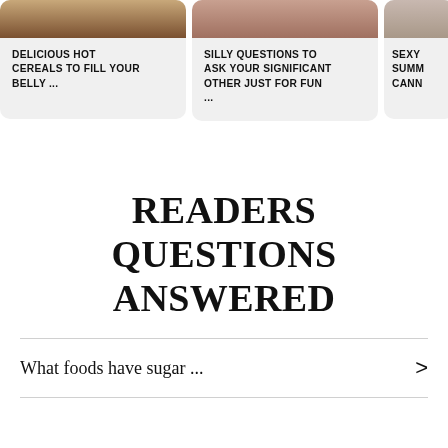[Figure (photo): Food photo - hot cereal dish on plate with brown background]
DELICIOUS HOT CEREALS TO FILL YOUR BELLY ...
[Figure (photo): Person photo - skin/person close-up]
SILLY QUESTIONS TO ASK YOUR SIGNIFICANT OTHER JUST FOR FUN ...
[Figure (photo): Partial photo - partially visible card on right edge]
SEXY SUMM CANN
READERS QUESTIONS ANSWERED
What foods have sugar ...